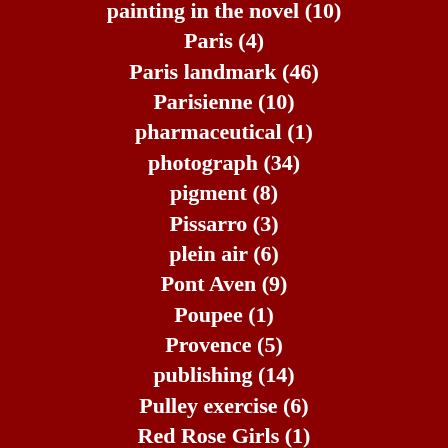painting in the novel (10)
Paris (4)
Paris landmark (46)
Parisienne (10)
pharmaceutical (1)
photograph (34)
pigment (8)
Pissarro (3)
plein air (6)
Pont Aven (9)
Poupee (1)
Provence (5)
publishing (14)
Pulley exercise (6)
Red Rose Girls (1)
Regnault (2)
Rembrandt (2)
Renicks (5)
renoir (4)